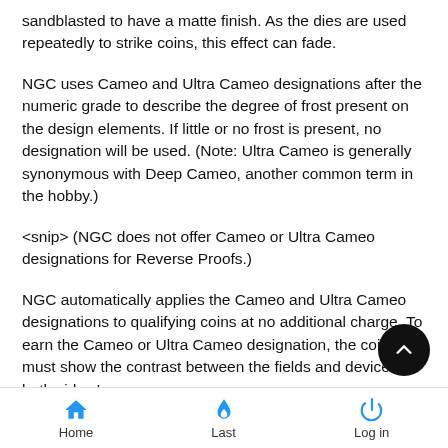sandblasted to have a matte finish. As the dies are used repeatedly to strike coins, this effect can fade.
NGC uses Cameo and Ultra Cameo designations after the numeric grade to describe the degree of frost present on the design elements. If little or no frost is present, no designation will be used. (Note: Ultra Cameo is generally synonymous with Deep Cameo, another common term in the hobby.)
<snip> (NGC does not offer Cameo or Ultra Cameo designations for Reverse Proofs.)
NGC automatically applies the Cameo and Ultra Cameo designations to qualifying coins at no additional charge. To earn the Cameo or Ultra Cameo designation, the coin must show the contrast between the fields and devices on both sides.'
('Devices' are the frosted design elements.)
Home  Last  Log in